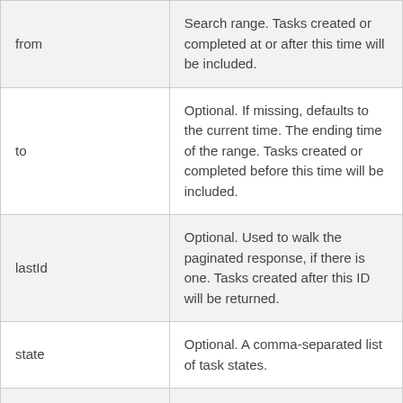| Parameter | Description |
| --- | --- |
| from | Search range. Tasks created or completed at or after this time will be included. |
| to | Optional. If missing, defaults to the current time. The ending time of the range. Tasks created or completed before this time will be included. |
| lastId | Optional. Used to walk the paginated response, if there is one. Tasks created after this ID will be returned. |
| state | Optional. A comma-separated list of task states. |